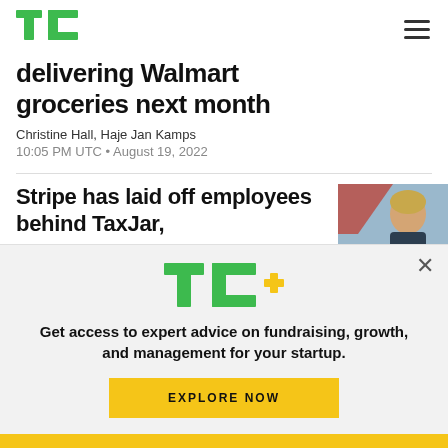TechCrunch logo and navigation
delivering Walmart groceries next month
Christine Hall, Haje Jan Kamps
10:05 PM UTC • August 19, 2022
Stripe has laid off employees behind TaxJar,
[Figure (photo): Photo of a person with short blonde hair against a light blue background]
[Figure (logo): TC+ logo in green with a gold plus sign]
Get access to expert advice on fundraising, growth, and management for your startup.
EXPLORE NOW